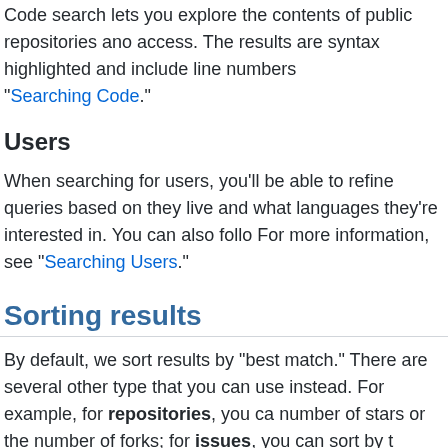Code search lets you explore the contents of public repositories and access. The results are syntax highlighted and include line numbers "Searching Code."
Users
When searching for users, you'll be able to refine queries based on they live and what languages they're interested in. You can also foll For more information, see "Searching Users."
Sorting results
By default, we sort results by "best match." There are several other type that you can use instead. For example, for repositories, you c number of stars or the number of forks; for issues, you can sort by t
For a complete list of sort options, refer to the help article for each i
Potential timeouts